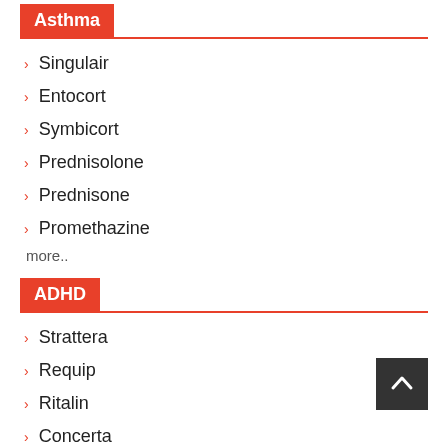Asthma
Singulair
Entocort
Symbicort
Prednisolone
Prednisone
Promethazine
more..
ADHD
Strattera
Requip
Ritalin
Concerta